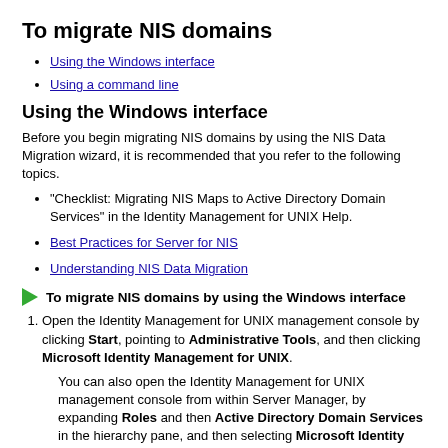To migrate NIS domains
Using the Windows interface
Using a command line
Using the Windows interface
Before you begin migrating NIS domains by using the NIS Data Migration wizard, it is recommended that you refer to the following topics.
"Checklist: Migrating NIS Maps to Active Directory Domain Services" in the Identity Management for UNIX Help.
Best Practices for Server for NIS
Understanding NIS Data Migration
To migrate NIS domains by using the Windows interface
Open the Identity Management for UNIX management console by clicking Start, pointing to Administrative Tools, and then clicking Microsoft Identity Management for UNIX.
You can also open the Identity Management for UNIX management console from within Server Manager, by expanding Roles and then Active Directory Domain Services in the hierarchy pane, and then selecting Microsoft Identity Management for UNIX.
Click Server for NIS in the navigation pane.
With Server for NIS highlighted in the navigation pane, click the Start NIS Data Migration Wizard command in the Actions pane.
You can also click Start NIS Data Migration Wizard on the